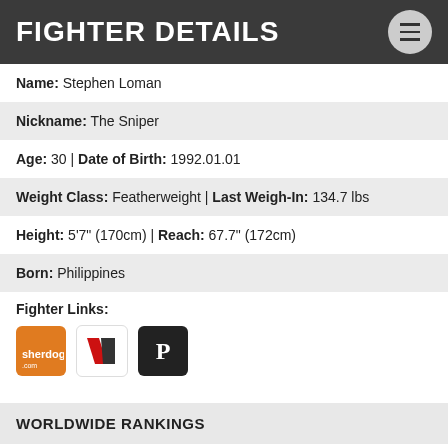FIGHTER DETAILS
Name: Stephen Loman
Nickname: The Sniper
Age: 30 | Date of Birth: 1992.01.01
Weight Class: Featherweight | Last Weigh-In: 134.7 lbs
Height: 5'7" (170cm) | Reach: 67.7" (172cm)
Born: Philippines
Fighter Links:
[Figure (logo): Three fighter link icons: Sherdog (orange), Tapology (red/white), and a P icon (black)]
WORLDWIDE RANKINGS
#148 Current Best MMA Featherweight Fighter
REGIONAL RANKINGS